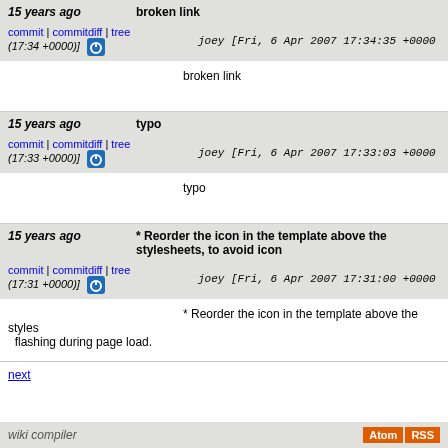15 years ago   broken link
commit | commitdiff | tree   joey [Fri, 6 Apr 2007 17:34:35 +0000 (17:34 +0000)]
broken link
15 years ago   typo
commit | commitdiff | tree   joey [Fri, 6 Apr 2007 17:33:03 +0000 (17:33 +0000)]
typo
15 years ago   * Reorder the icon in the template above the stylesheets, to avoid icon
commit | commitdiff | tree   joey [Fri, 6 Apr 2007 17:31:00 +0000 (17:31 +0000)]
* Reorder the icon in the template above the stylesheets, to avoid icon flashing during page load.
next
wiki compiler   Atom RSS